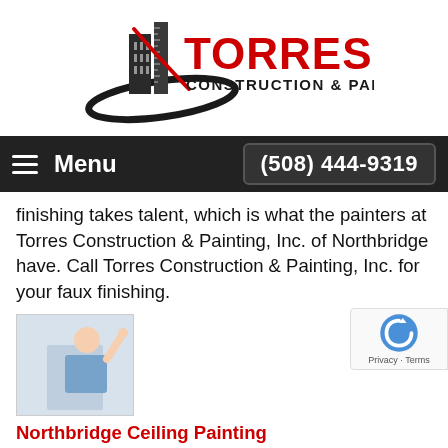[Figure (logo): Torres Construction & Painting logo with building/ruler graphic in black and red]
Menu   (508) 444-9319
finishing takes talent, which is what the painters at Torres Construction & Painting, Inc. of Northbridge have. Call Torres Construction & Painting, Inc. for your faux finishing.
[Figure (photo): Painter working on a ceiling or wall]
Northbridge Ceiling Painting
Torres Construction & Painting, Inc. of Northbridge, MA provides you with experienced, affordable, satisfaction guaranteed ceiling painters. Call Torres Construction & Painting, Inc. for your free estimate.
[Figure (photo): Partial view of another section image at bottom]